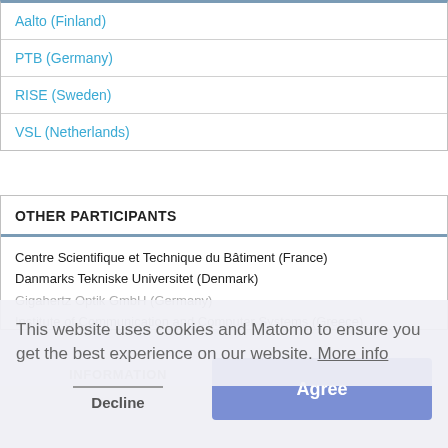Aalto (Finland)
PTB (Germany)
RISE (Sweden)
VSL (Netherlands)
OTHER PARTICIPANTS
Centre Scientifique et Technique du Bâtiment (France)
Danmarks Tekniske Universitet (Denmark)
Gigahertz Optik GmbH (Germany)
Institute of Communication and Computer Systems (Greece)
Signify Netherlands B.V. (Netherlands)
Technische Universiteit Eindhoven (Netherlands)
...Signna B.V. (Netherlands)
This website uses cookies and Matomo to ensure you get the best experience on our website. More info
INFORMATION
Decline
Agree